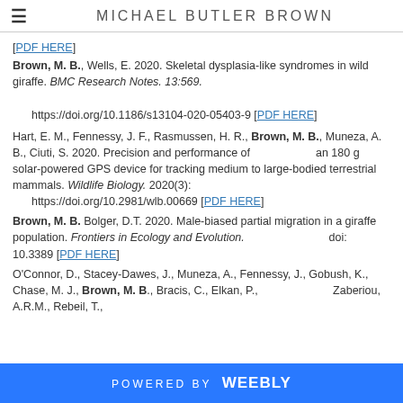MICHAEL BUTLER BROWN
[PDF HERE]
Brown, M. B., Wells, E. 2020. Skeletal dysplasia-like syndromes in wild giraffe. BMC Research Notes. 13:569.

  https://doi.org/10.1186/s13104-020-05403-9 [PDF HERE]
Hart, E. M., Fennessy, J. F., Rasmussen, H. R., Brown, M. B., Muneza, A. B., Ciuti, S. 2020. Precision and performance of an 180 g solar-powered GPS device for tracking medium to large-bodied terrestrial mammals. Wildlife Biology. 2020(3):
  https://doi.org/10.2981/wlb.00669 [PDF HERE]
Brown, M. B. Bolger, D.T. 2020. Male-biased partial migration in a giraffe population. Frontiers in Ecology and Evolution. doi: 10.3389 [PDF HERE]
O'Connor, D., Stacey-Dawes, J., Muneza, A., Fennessy, J., Gobush, K., Chase, M. J., Brown, M. B., Bracis, C., Elkan, P., Zaberiou, A.R.M., Rebeil, T.,
POWERED BY weebly